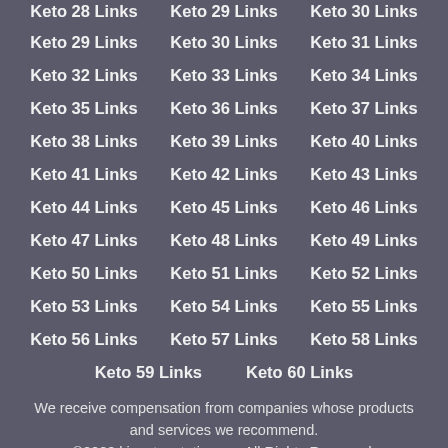Keto 28 Links  Keto 29 Links  Keto 30 Links
Keto 29 Links  Keto 30 Links  Keto 31 Links
Keto 32 Links  Keto 33 Links  Keto 34 Links
Keto 35 Links  Keto 36 Links  Keto 37 Links
Keto 38 Links  Keto 39 Links  Keto 40 Links
Keto 41 Links  Keto 42 Links  Keto 43 Links
Keto 44 Links  Keto 45 Links  Keto 46 Links
Keto 47 Links  Keto 48 Links  Keto 49 Links
Keto 50 Links  Keto 51 Links  Keto 52 Links
Keto 53 Links  Keto 54 Links  Keto 55 Links
Keto 56 Links  Keto 57 Links  Keto 58 Links
Keto 59 Links  Keto 60 Links
We receive compensation from companies whose products and services we recommend.
©2022 kingstonstation.org All Rights Reserved.